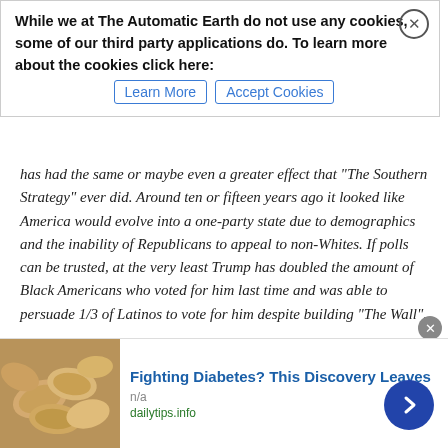While we at The Automatic Earth do not use any cookies, some of our third party applications do. To learn more about the cookies click here: [Learn More] [Accept Cookies]
has had the same or maybe even a greater effect that "The Southern Strategy" ever did. Around ten or fifteen years ago it looked like America would evolve into a one-party state due to demographics and the inability of Republicans to appeal to non-Whites. If polls can be trusted, at the very least Trump has doubled the amount of Black Americans who voted for him last time and was able to persuade 1/3 of Latinos to vote for him despite building "The Wall".
Looking back on the 2016 election it is easy to see these huge gains, in groups that the Democrats took for granted as "theirs". In contrast to Trump's vision of a pro-Consitution, somewhat Libertarian populous party the Democrats have doubled down on hardcore Progressive positions. If the Dems used to represent the working man in a White vs. Blue collar America battle, they have now shifted over to being a Postmodernist circus of race, gender and sexual orientation
[Figure (photo): Advertisement image showing cashews/nuts, promoting Fighting Diabetes discovery]
Fighting Diabetes? This Discovery Leaves
n/a
dailytips.info